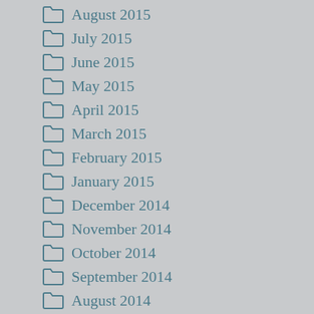August 2015
July 2015
June 2015
May 2015
April 2015
March 2015
February 2015
January 2015
December 2014
November 2014
October 2014
September 2014
August 2014
July 2014
June 2014
May 2014